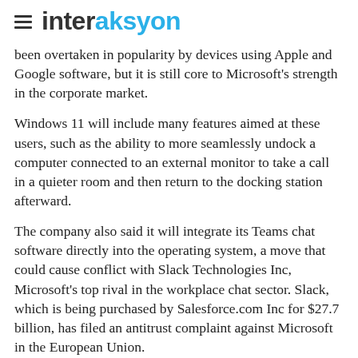interaksyon
been overtaken in popularity by devices using Apple and Google software, but it is still core to Microsoft's strength in the corporate market.
Windows 11 will include many features aimed at these users, such as the ability to more seamlessly undock a computer connected to an external monitor to take a call in a quieter room and then return to the docking station afterward.
The company also said it will integrate its Teams chat software directly into the operating system, a move that could cause conflict with Slack Technologies Inc, Microsoft's top rival in the workplace chat sector. Slack, which is being purchased by Salesforce.com Inc for $27.7 billion, has filed an antitrust complaint against Microsoft in the European Union.